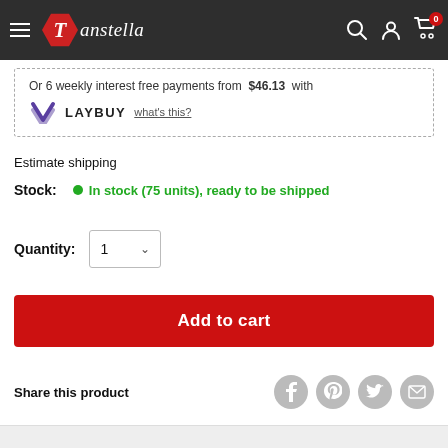Tanstella – navigation bar with logo, search, account, and cart icons
Or 6 weekly interest free payments from $46.13 with LAYBUY what's this?
Estimate shipping
Stock: In stock (75 units), ready to be shipped
Quantity: 1
Add to cart
Share this product